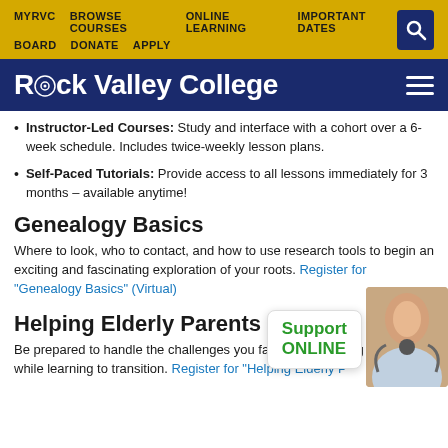MYRVC  BROWSE COURSES  ONLINE LEARNING  IMPORTANT DATES  BOARD  DONATE  APPLY
Rock Valley College
Instructor-Led Courses: Study and interface with a cohort over a 6-week schedule. Includes twice-weekly lesson plans.
Self-Paced Tutorials: Provide access to all lessons immediately for 3 months – available anytime!
Genealogy Basics
Where to look, who to contact, and how to use research tools to begin an exciting and fascinating exploration of your roots. Register for "Genealogy Basics" (Virtual)
Helping Elderly Parents
Be prepared to handle the challenges you face in the coming years, while learning to transition. Register for "Helping Elderly P..."